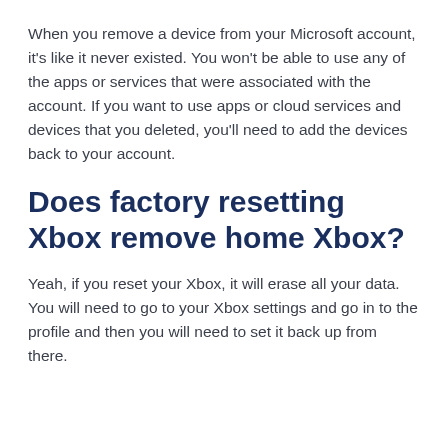When you remove a device from your Microsoft account, it's like it never existed. You won't be able to use any of the apps or services that were associated with the account. If you want to use apps or cloud services and devices that you deleted, you'll need to add the devices back to your account.
Does factory resetting Xbox remove home Xbox?
Yeah, if you reset your Xbox, it will erase all your data. You will need to go to your Xbox settings and go in to the profile and then you will need to set it back up from there.